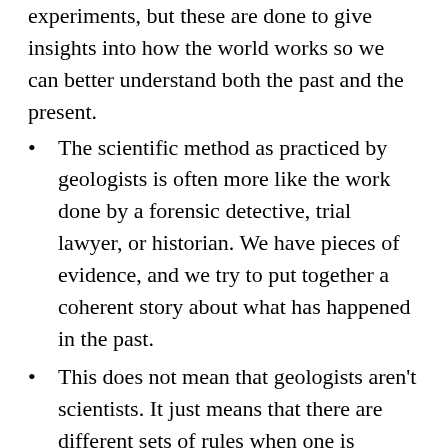experiments, but these are done to give insights into how the world works so we can better understand both the past and the present.
The scientific method as practiced by geologists is often more like the work done by a forensic detective, trial lawyer, or historian. We have pieces of evidence, and we try to put together a coherent story about what has happened in the past.
This does not mean that geologists aren’t scientists. It just means that there are different sets of rules when one is investigating past, non-repeatable occurrences.
Almost all high school science textbooks have a section about the “scientific method” in the introductory chapter, presenting the standard Observation — Hypothesis — Experiment —